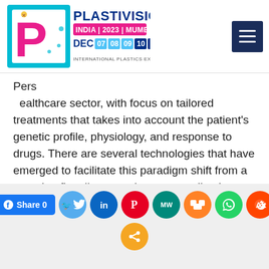[Figure (logo): Plastivision India 2023 Mumbai logo with DEC 07 08 09 10 11 dates and International Plastics Exhibition & Conference text]
Personalized medicine is transforming the healthcare sector, with focus on tailored treatments that takes into account the patient's genetic profile, physiology, and response to drugs. There are several technologies that have emerged to facilitate this paradigm shift from a one-size-fits-all approach to personalized medicine. Foremost among these technologies is 3D printing with plastic derivatives helping to …
Continue reading
[Figure (infographic): Social sharing buttons row: Facebook Share 0, Twitter, LinkedIn, Pinterest, MeWe, Mix, WhatsApp, Reddit, Share]